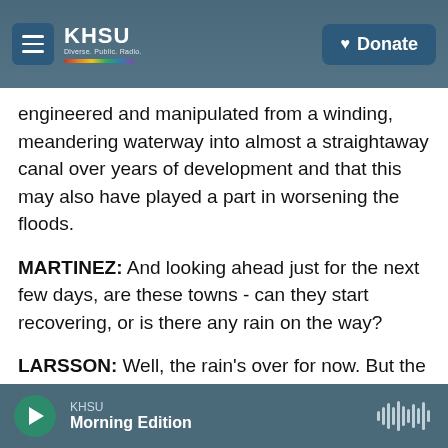KHSU | Donate
engineered and manipulated from a winding, meandering waterway into almost a straightaway canal over years of development and that this may also have played a part in worsening the floods.
MARTINEZ: And looking ahead just for the next few days, are these towns - can they start recovering, or is there any rain on the way?
LARSSON: Well, the rain's over for now. But the area's far from recovered. Residents told me that it'll be weeks before electricity is restored and months before they'll have gas. The region doesn't
KHSU Morning Edition